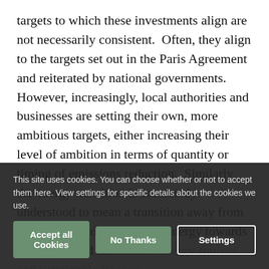targets to which these investments align are not necessarily consistent.  Often, they align to the targets set out in the Paris Agreement and reiterated by national governments.  However, increasingly, local authorities and businesses are setting their own, more ambitious targets, either increasing their level of ambition in terms of quantity or timing of emissions reduction.  Similarly, the energy transition is commonly understood to mean a transition away from fossil fuels and high carbon energy towards renewable and sustainable energy sources and sustainable finance. there is, therefore, no standard benchmark or
This site uses cookies. You can choose whether or not to accept them here. View settings for specific details about the cookies we use.